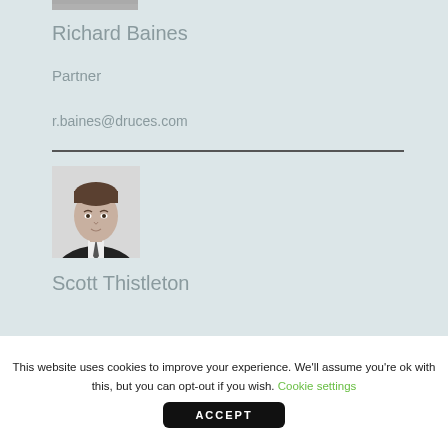[Figure (photo): Partial top of a person's photo, cropped at top of page]
Richard Baines
Partner
r.baines@druces.com
[Figure (photo): Black and white portrait photo of Scott Thistleton]
Scott Thistleton
This website uses cookies to improve your experience. We'll assume you're ok with this, but you can opt-out if you wish. Cookie settings
ACCEPT